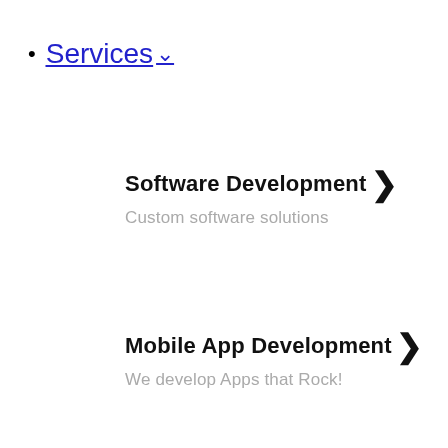Services ∨
Software Development >
Custom software solutions
Mobile App Development >
We develop Apps that Rock!